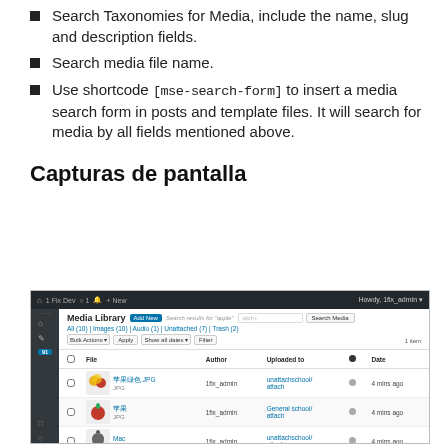Search Taxonomies for Media, include the name, slug and description fields.
Search media file name.
Use shortcode [mse-search-form] to insert a media search form in posts and template files. It will search for media by all fields mentioned above.
Capturas de pantalla
[Figure (screenshot): WordPress Media Library admin screen showing a search for 'apple' with results including thumbnail images of apples and a Mac logo, with columns for File, Author, Uploaded to, and Date.]